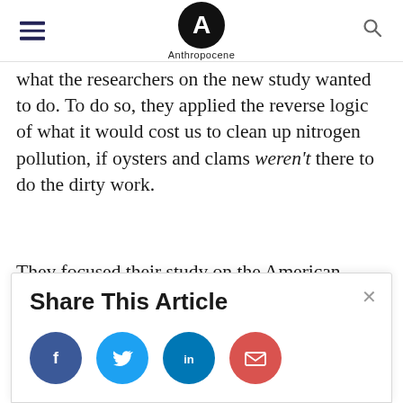Anthropocene
what the researchers on the new study wanted to do. To do so, they applied the reverse logic of what it would cost us to clean up nitrogen pollution, if oysters and clams weren't there to do the dirty work.
They focused their study on the American coastal town of Greenwich in
Share This Article
[Figure (infographic): Share buttons: Facebook (blue), Twitter (light blue), LinkedIn (dark blue), Email (red)]